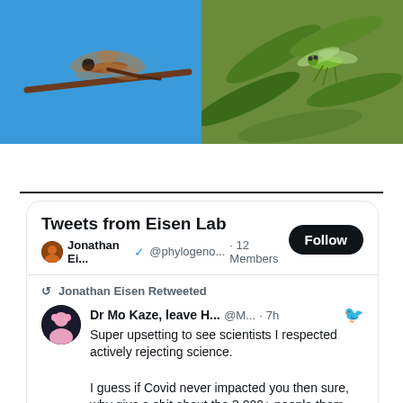[Figure (photo): Two nature photographs side by side: left shows a dragonfly perched on a twig against a blue sky; right shows a green insect on leafy green foliage.]
Tweets from Eisen Lab
Jonathan Ei... @phylogeno... · 12 Members
Jonathan Eisen Retweeted
Dr Mo Kaze, leave H... @M... · 7h
Super upsetting to see scientists I respected actively rejecting science.

I guess if Covid never impacted you then sure, why give a shit about the 3,000+ people them who died from it *last week* or that we're back to ~500 deaths per